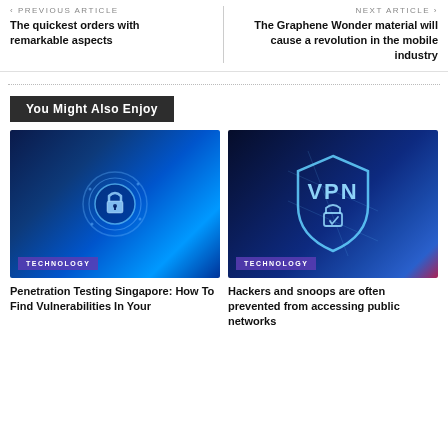< PREVIOUS ARTICLE
The quickest orders with remarkable aspects
NEXT ARTICLE >
The Graphene Wonder material will cause a revolution in the mobile industry
You Might Also Enjoy
[Figure (photo): Cybersecurity concept image with glowing digital padlock and circuit board in blue tones. TECHNOLOGY badge overlay.]
[Figure (photo): VPN shield icon with lock on dark blue network map background with pink/purple accents. TECHNOLOGY badge overlay.]
Penetration Testing Singapore: How To Find Vulnerabilities In Your
Hackers and snoops are often prevented from accessing public networks